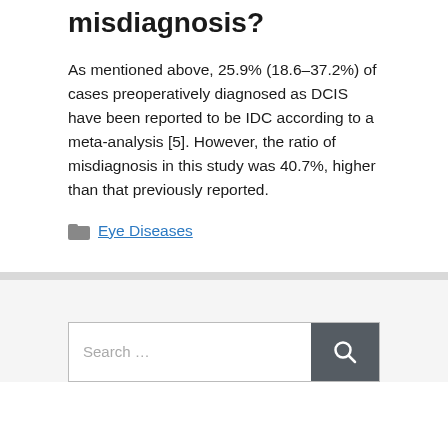misdiagnosis?
As mentioned above, 25.9% (18.6–37.2%) of cases preoperatively diagnosed as DCIS have been reported to be IDC according to a meta-analysis [5]. However, the ratio of misdiagnosis in this study was 40.7%, higher than that previously reported.
Eye Diseases
Search ...